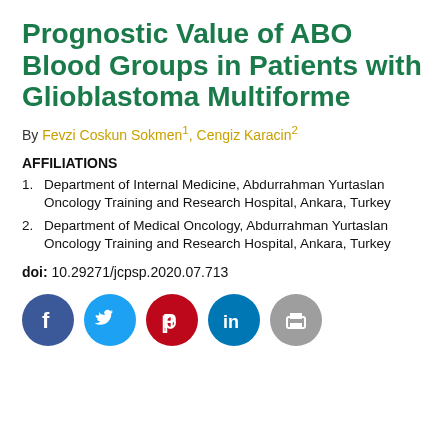Prognostic Value of ABO Blood Groups in Patients with Glioblastoma Multiforme
By Fevzi Coskun Sokmen1, Cengiz Karacin2
AFFILIATIONS
1. Department of Internal Medicine, Abdurrahman Yurtaslan Oncology Training and Research Hospital, Ankara, Turkey
2. Department of Medical Oncology, Abdurrahman Yurtaslan Oncology Training and Research Hospital, Ankara, Turkey
doi: 10.29271/jcpsp.2020.07.713
[Figure (other): Social media share icons: Facebook, Twitter, Pinterest, LinkedIn, Print]